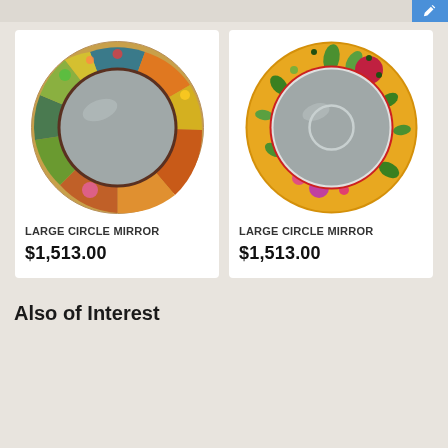[Figure (photo): Colorful painted circular mirror with folk art motifs including animals, flowers, moon, and geometric patterns on its wide decorative frame.]
LARGE CIRCLE MIRROR
$1,513.00
[Figure (photo): Circular mirror with warm golden-yellow painted wooden frame decorated with flowers, leaves, and botanical motifs, with a red inner ring.]
LARGE CIRCLE MIRROR
$1,513.00
Also of Interest